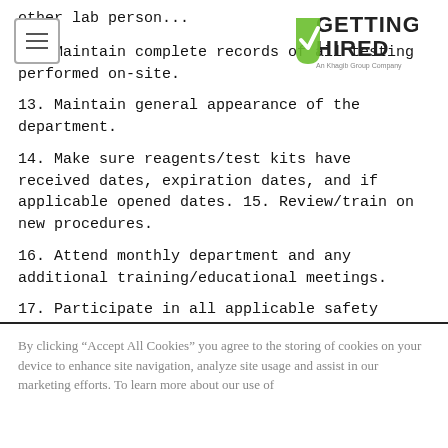[Figure (logo): Getting Hired logo - green text with checkmark, 'An Khagib Group Company' subtitle]
other lab person...
12. Maintain complete records of all testing performed on-site.
13. Maintain general appearance of the department.
14. Make sure reagents/test kits have received dates, expiration dates, and if applicable opened dates. 15. Review/train on new procedures.
16. Attend monthly department and any additional training/educational meetings.
17. Participate in all applicable safety training sessions. Know the location and contents of the safety manual. Know the location/use of all applicable safety equipment.
By clicking “Accept All Cookies” you agree to the storing of cookies on your device to enhance site navigation, analyze site usage and assist in our marketing efforts. To learn more about our use of